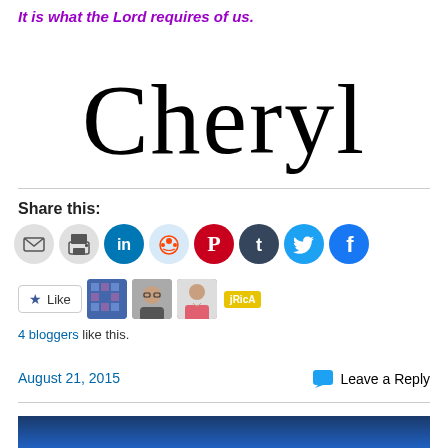It is what the Lord requires of us.
[Figure (illustration): Handwritten cursive signature reading 'Cheryl']
Share this:
[Figure (infographic): Row of social share icon buttons: email, print, LinkedIn, Reddit, Pinterest, Tumblr, Twitter, Facebook]
[Figure (infographic): Like button and 3 blogger avatars plus a yellow tag]
4 bloggers like this.
August 21, 2015
Leave a Reply
[Figure (illustration): Dark blue banner at bottom of page]